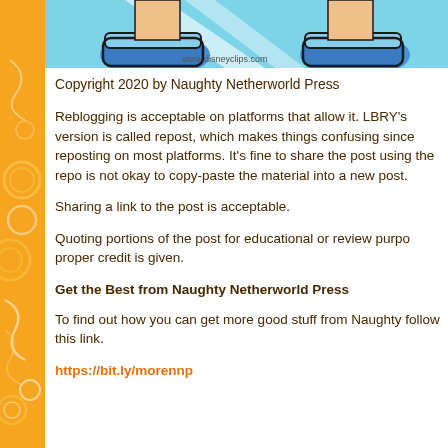[Figure (illustration): Partial cartoon image showing feet/shoes of a Disney character with www.disneyclips.com watermark, against a light blue background]
Copyright 2020 by Naughty Netherworld Press
Reblogging is acceptable on platforms that allow it. LBRY's version is called repost, which makes things confusing since reposting is not okay on most platforms. It's fine to share the post using the repo... is not okay to copy-paste the material into a new post.
Sharing a link to the post is acceptable.
Quoting portions of the post for educational or review purpo... proper credit is given.
Get the Best from Naughty Netherworld Press
To find out how you can get more good stuff from Naughty... follow this link.
https://bit.ly/morennp